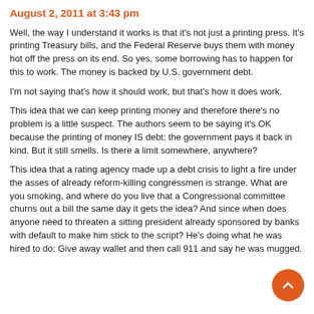August 2, 2011 at 3:43 pm
Well, the way I understand it works is that it's not just a printing press. It's printing Treasury bills, and the Federal Reserve buys them with money hot off the press on its end. So yes, some borrowing has to happen for this to work. The money is backed by U.S. government debt.
I'm not saying that's how it should work, but that's how it does work.
This idea that we can keep printing money and therefore there's no problem is a little suspect. The authors seem to be saying it's OK because the printing of money IS debt; the government pays it back in kind. But it still smells. Is there a limit somewhere, anywhere?
This idea that a rating agency made up a debt crisis to light a fire under the asses of already reform-killing congressmen is strange. What are you smoking, and where do you live that a Congressional committee churns out a bill the same day it gets the idea? And since when does anyone need to threaten a sitting president already sponsored by banks with default to make him stick to the script? He's doing what he was hired to do: Give away wallet and then call 911 and say he was mugged.